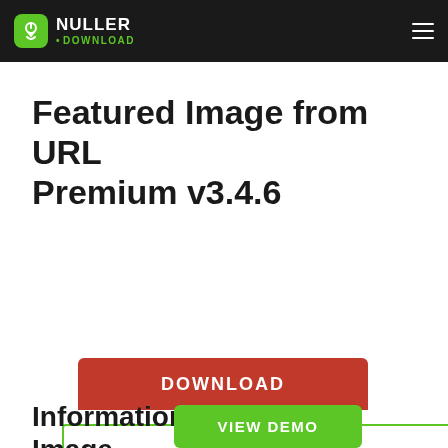NULLER • DOWNLOAD
Featured Image from URL Premium v3.4.6
[Figure (screenshot): A plugin preview image box with a green border showing a green stripe at the bottom and the NULLER DOWNLOAD logo card on a blue rounded rectangle background. Below the image box is a red DOWNLOAD button and a green VIEW DEMO button.]
Information about Featured Image from URL Premium